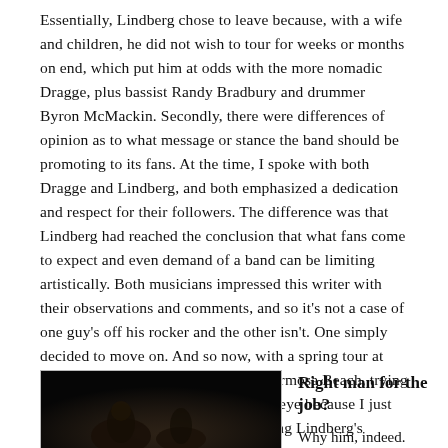Essentially, Lindberg chose to leave because, with a wife and children, he did not wish to tour for weeks or months on end, which put him at odds with the more nomadic Dragge, plus bassist Randy Bradbury and drummer Byron McMackin. Secondly, there were differences of opinion as to what message or stance the band should be promoting to its fans. At the time, I spoke with both Dragge and Lindberg, and both emphasized a dedication and respect for their followers. The difference was that Lindberg had reached the conclusion that what fans come to expect and even demand of a band can be limiting artistically. Both musicians impressed this writer with their observations and comments, and so it's not a case of one guy's off his rocker and the other isn't. One simply decided to move on. And so now, with a spring tour at hand, I'm back at Fletcher's pad in Hermosa Beach, trying hard not to look his killer dogs in the eye because I just know they'll take it wrong, and meeting Lindberg's replacement for the first time.
[Figure (photo): Dark photograph showing a partially visible figure or band member, mostly black background]
Right man for the job?
Why him, indeed.